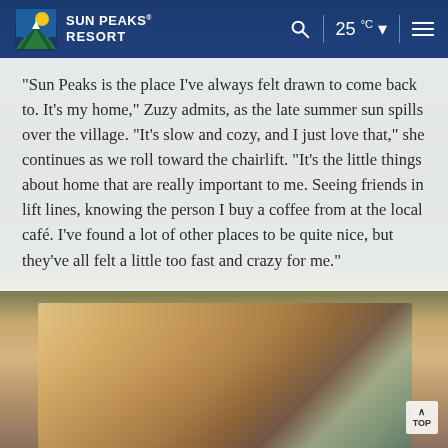Sun Peaks Resort | 25°C
“Sun Peaks is the place I’ve always felt drawn to come back to. It’s my home,” Zuzy admits, as the late summer sun spills over the village. “It’s slow and cozy, and I just love that,” she continues as we roll toward the chairlift. “It’s the little things about home that are really important to me. Seeing friends in lift lines, knowing the person I buy a coffee from at the local café. I’ve found a lot of other places to be quite nice, but they’ve all felt a little too fast and crazy for me.”
[Figure (photo): Sunlit forest scene with warm golden light filtering through trees, likely at Sun Peaks Resort]